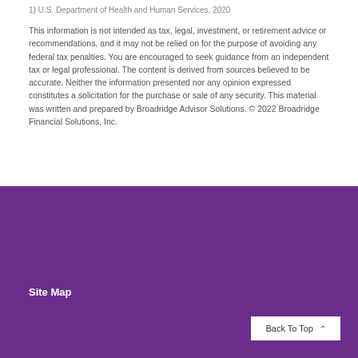1) U.S. Department of Health and Human Services, 2020
This information is not intended as tax, legal, investment, or retirement advice or recommendations, and it may not be relied on for the purpose of avoiding any federal tax penalties. You are encouraged to seek guidance from an independent tax or legal professional. The content is derived from sources believed to be accurate. Neither the information presented nor any opinion expressed constitutes a solicitation for the purchase or sale of any security. This material was written and prepared by Broadridge Advisor Solutions. © 2022 Broadridge Financial Solutions, Inc.
Site Map
Back To Top